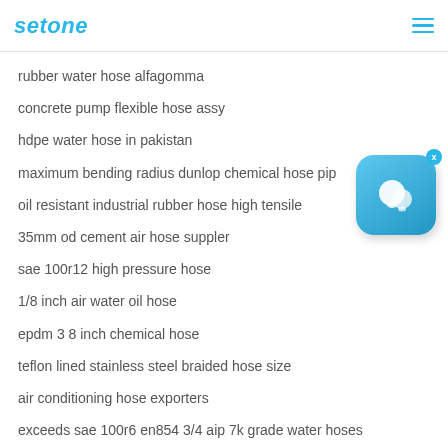setone
rubber water hose alfagomma
concrete pump flexible hose assy
hdpe water hose in pakistan
maximum bending radius dunlop chemical hose pip
oil resistant industrial rubber hose high tensile
35mm od cement air hose suppler
sae 100r12 high pressure hose
1/8 inch air water oil hose
epdm 3 8 inch chemical hose
teflon lined stainless steel braided hose size
air conditioning hose exporters
exceeds sae 100r6 en854 3/4 aip 7k grade water hoses